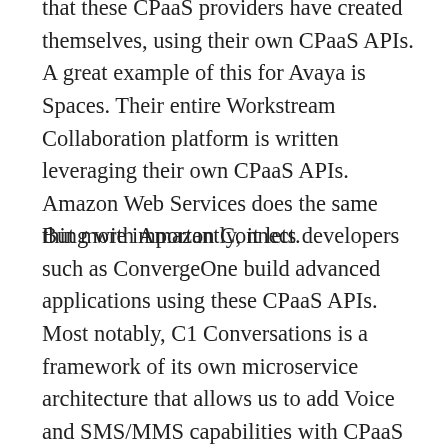that these CPaaS providers have created themselves, using their own CPaaS APIs. A great example of this for Avaya is Spaces. Their entire Workstream Collaboration platform is written leveraging their own CPaaS APIs. Amazon Web Services does the same thing with Amazon Connect.
But more importantly, it lets developers such as ConvergeOne build advanced applications using these CPaaS APIs. Most notably, C1 Conversations is a framework of its own microservice architecture that allows us to add Voice and SMS/MMS capabilities with CPaaS that can be agnostic and independent to an existing UC/CC solution. If fact, this is